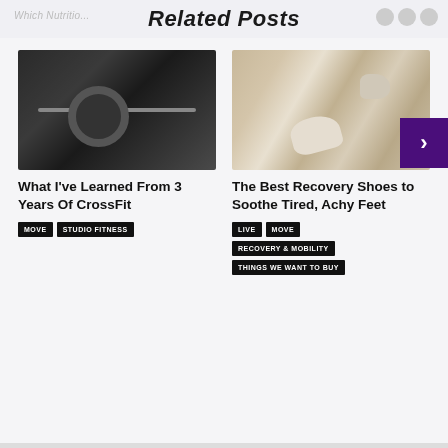Related Posts
[Figure (photo): Barbell weight plate on a gym floor, dark tones]
What I've Learned From 3 Years Of CrossFit
MOVE
STUDIO FITNESS
[Figure (photo): Pile of recovery/slide sandal shoes in beige and white tones]
The Best Recovery Shoes to Soothe Tired, Achy Feet
LIVE
MOVE
RECOVERY & MOBILITY
THINGS WE WANT TO BUY